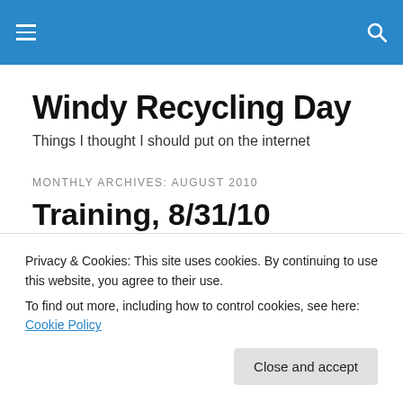Windy Recycling Day [navigation bar]
Windy Recycling Day
Things I thought I should put on the internet
MONTHLY ARCHIVES: AUGUST 2010
Training, 8/31/10
GGP Run: Squirt 45+5 05+2 135+2 10E+2 225+2 245+2
Privacy & Cookies: This site uses cookies. By continuing to use this website, you agree to their use.
To find out more, including how to control cookies, see here: Cookie Policy
Close and accept